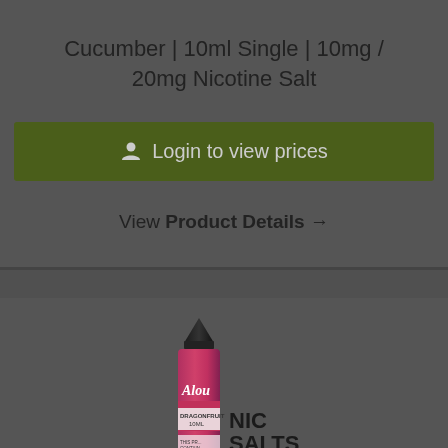Cucumber | 10ml Single | 10mg / 20mg Nicotine Salt
Login to view prices
View Product Details →
[Figure (photo): A pink/magenta e-liquid bottle labeled 'Aloe' with 'Dragonfruit 10ml' text and 'NIC SALTS' branding visible to the right side. The bottle has a black pointed cap.]